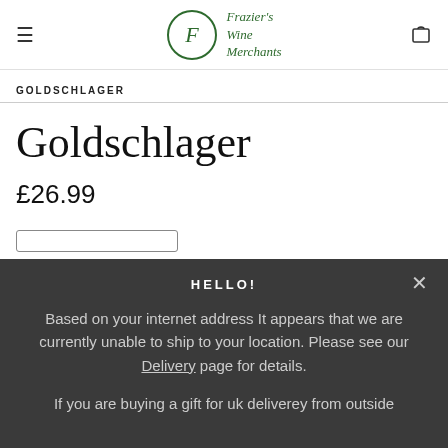Frazier's Wine Merchants
GOLDSCHLAGER
Goldschlager
£26.99
HELLO!
Based on your internet address It appears that we are currently unable to ship to your location. Please see our Delivery page for details.
If you are buying a gift for uk deliverey from outside